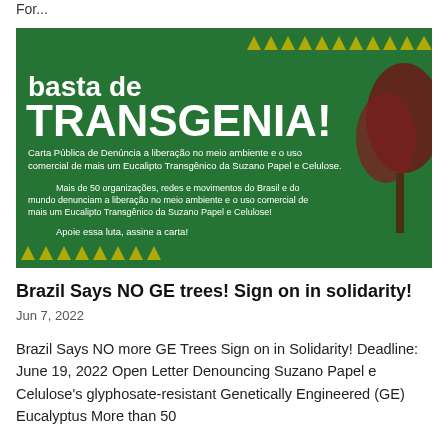For...
[Figure (illustration): Green promotional banner reading 'basta de TRANSGENIA!' with text in Portuguese about an open letter denouncing Suzano Papel e Celulose's transgenic eucalyptus, with triangular warning symbols and a tree image on the right.]
Brazil Says NO GE trees! Sign on in solidarity!
Jun 7, 2022
Brazil Says NO more GE Trees Sign on in Solidarity! Deadline: June 19, 2022 Open Letter Denouncing Suzano Papel e Celulose's glyphosate-resistant Genetically Engineered (GE) Eucalyptus More than 50